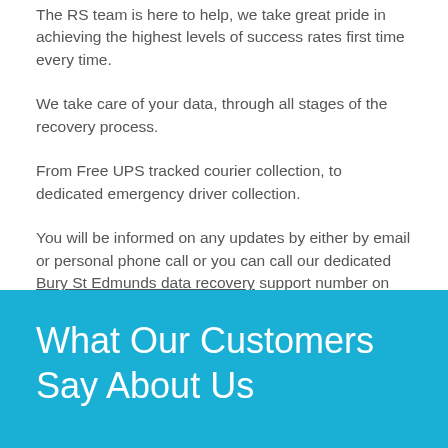The RS team is here to help, we take great pride in achieving the highest levels of success rates first time every time.
We take care of your data, through all stages of the recovery process.
From Free UPS tracked courier collection, to dedicated emergency driver collection.
You will be informed on any updates by either by email or personal phone call or you can call our dedicated Bury St Edmunds data recovery support number on 0128 460 4282 or use the contact form.
What Our Customers Say About Us